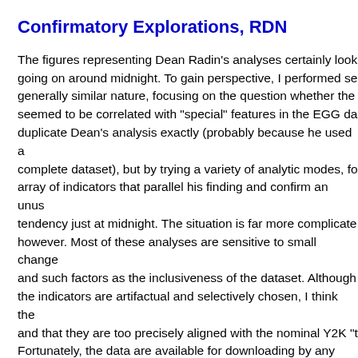Confirmatory Explorations, RDN
The figures representing Dean Radin's analyses certainly look going on around midnight. To gain perspective, I performed se generally similar nature, focusing on the question whether the seemed to be correlated with "special" features in the EGG da duplicate Dean's analysis exactly (probably because he used a complete dataset), but by trying a variety of analytic modes, fo array of indicators that parallel his finding and confirm an unus tendency just at midnight. The situation is far more complicate however. Most of these analyses are sensitive to small change and such factors as the inclusiveness of the dataset. Although the indicators are artifactual and selectively chosen, I think the and that they are too precisely aligned with the nominal Y2K "t Fortunately, the data are available for downloading by any inte bear examination.
Smoothed Variance, 27 eggs, 24 and 36 timezones
This figure shows midnight plus and minus 15 minutes, with da 24 timezones. It is a simpler and more direct implementation o variability of the data may diminish near midnight. The figure p timezones of the variance taken across the 27 eggs for each s 000 by in low. This motion would be like that i bit i